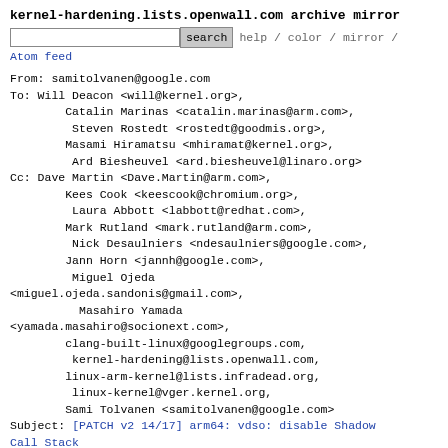kernel-hardening.lists.openwall.com archive mirror
search  help / color / mirror / Atom feed
From: samitolvanen@google.com
To: Will Deacon <will@kernel.org>,
        Catalin Marinas <catalin.marinas@arm.com>,
         Steven Rostedt <rostedt@goodmis.org>,
        Masami Hiramatsu <mhiramat@kernel.org>,
         Ard Biesheuvel <ard.biesheuvel@linaro.org>
Cc: Dave Martin <Dave.Martin@arm.com>,
        Kees Cook <keescook@chromium.org>,
         Laura Abbott <labbott@redhat.com>,
        Mark Rutland <mark.rutland@arm.com>,
         Nick Desaulniers <ndesaulniers@google.com>,
        Jann Horn <jannh@google.com>,
         Miguel Ojeda
<miguel.ojeda.sandonis@gmail.com>,
          Masahiro Yamada
<yamada.masahiro@socionext.com>,
        clang-built-linux@googlegroups.com,
         kernel-hardening@lists.openwall.com,
        linux-arm-kernel@lists.infradead.org,
         linux-kernel@vger.kernel.org,
        Sami Tolvanen <samitolvanen@google.com>
Subject: [PATCH v2 14/17] arm64: vdso: disable Shadow Call Stack
Date: Thu, 24 Oct 2019 15:51:29 -0700   [thread overview]